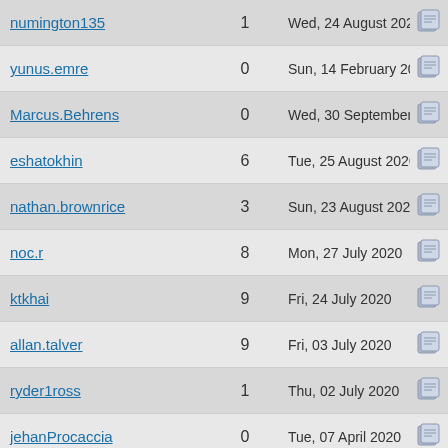| Username | Count | Date | Actions |
| --- | --- | --- | --- |
| numington135 | 1 | Wed, 24 August 2022 |  |
| yunus.emre | 0 | Sun, 14 February 2021 |  |
| Marcus.Behrens | 0 | Wed, 30 September 2020 |  |
| eshatokhin | 6 | Tue, 25 August 2020 |  |
| nathan.brownrice | 3 | Sun, 23 August 2020 |  |
| noc.r | 8 | Mon, 27 July 2020 |  |
| ktkhai | 9 | Fri, 24 July 2020 |  |
| allan.talver | 9 | Fri, 03 July 2020 |  |
| ryder1ross | 1 | Thu, 02 July 2020 |  |
| jehanProcaccia | 0 | Tue, 07 April 2020 |  |
| Steffan_N | 4 | Tue, 07 April 2020 |  |
| paulocoghi | 0 | Tue, 07 April 2020 |  |
| creativ-tech | 2 | Wed, 08 January 2020 |  |
| k9buster | 0 | Mon, 02 December 2019 |  |
| 63DYxLP1 | 3 | Mon, 16 September 2019 |  |
| ... | 1 | Tue, 27 August 2019 |  |